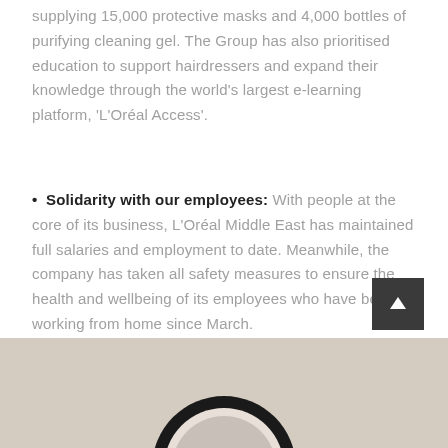supplying 15,000 protective masks and 4,000 bottles of purifying cleaning gel. The Group has also prioritised education to support hairdressers and expand their knowledge through the world's largest e-learning platform, 'L'Oréal Access'.
• Solidarity with our employees: With people at the core of its business, L'Oréal Middle East has maintained full salaries and employment to date. Meanwhile, the company has taken all safety measures to ensure the health and wellbeing of its employees who have been working from home since March.
[Figure (photo): Bottom portion of the page showing a beige/tan background with part of a circular black-rimmed object (appears to be a protective mask or similar circular device) visible at the bottom center. A dark grey back-to-top button with an upward arrow is visible in the lower right area.]